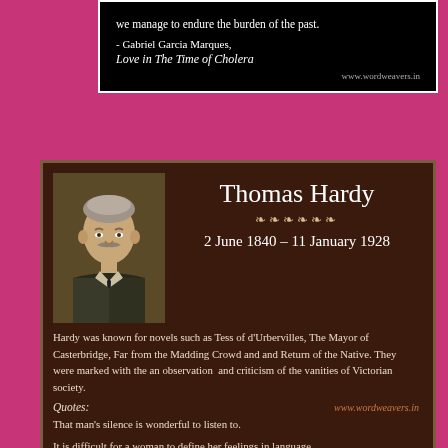[Figure (infographic): Black card with quote text, attribution to Gabriel Garcia Marques, Love in The Time of Cholera, and website www.wordweavers.in]
[Figure (infographic): Dark brown biographical card for Thomas Hardy with portrait painting, name, dates 2 June 1840 – 11 January 1928, biographical text about his novels, quotes label, website www.wordweavers.in, and two quote lines]